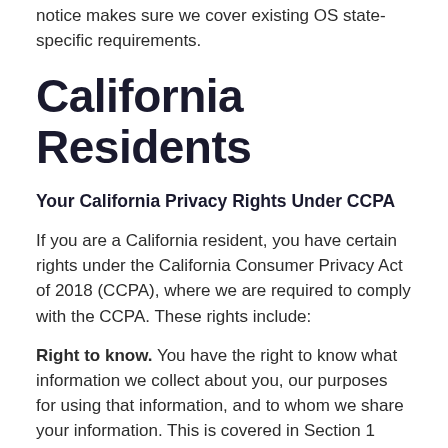notice makes sure we cover existing OS state-specific requirements.
California Residents
Your California Privacy Rights Under CCPA
If you are a California resident, you have certain rights under the California Consumer Privacy Act of 2018 (CCPA), where we are required to comply with the CCPA. These rights include:
Right to know. You have the right to know what information we collect about you, our purposes for using that information, and to whom we share your information. This is covered in Section 1 ('Information we collect from you'), Section 2